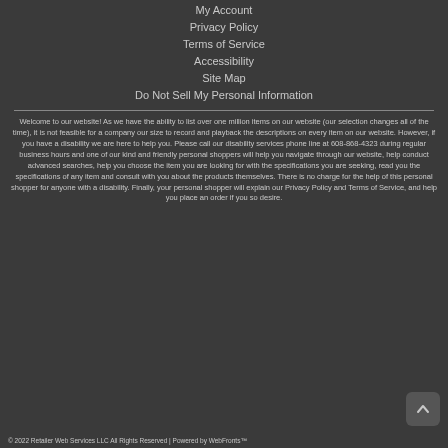My Account
Privacy Policy
Terms of Service
Accessibility
Site Map
Do Not Sell My Personal Information
Welcome to our website! As we have the ability to list over one million items on our website (our selection changes all of the time), it is not feasible for a company our size to record and playback the descriptions on every item on our website. However, if you have a disability we are here to help you. Please call our disability services phone line at 608-868-4323 during regular business hours and one of our kind and friendly personal shoppers will help you navigate through our website, help conduct advanced searches, help you choose the item you are looking for with the specifications you are seeking, read you the specifications of any item and consult with you about the products themselves. There is no charge for the help of this personal shopper for anyone with a disability. Finally, your personal shopper will explain our Privacy Policy and Terms of Service, and help you place an order if you so desire.
© 2022 Retailer Web Services LLC All Rights Reserved | Powered by WebFronts™